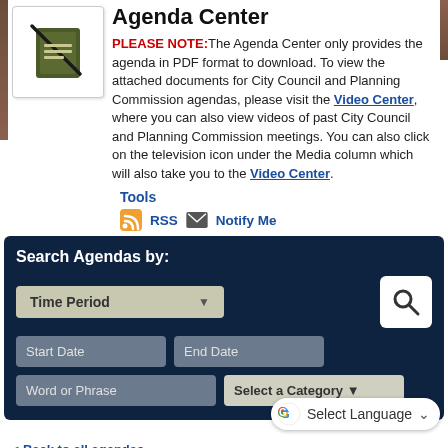Agenda Center
PLEASE NOTE: The Agenda Center only provides the agenda in PDF format to download. To view the attached documents for City Council and Planning Commission agendas, please visit the Video Center, where you can also view videos of past City Council and Planning Commission meetings. You can also click on the television icon under the Media column which will also take you to the Video Center.
Tools
RSS   Notify Me
Search Agendas by: Time Period | Start Date | End Date | Word or Phrase | Select a Category
Select Language
◄ Back to all agendas